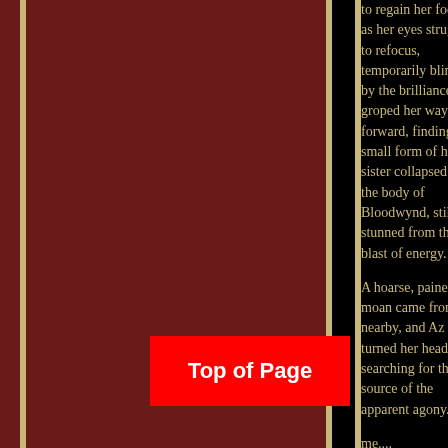[Figure (illustration): Dark red decorative panel occupying the left two-thirds of the page, bordered by gold vertical stripes on a black background. Represents a book or fiction page layout with decorative column formatting.]
to regain her footing as her eyes struggled to refocus, temporarily blinded by the brilliance. She groped her way forward, finding the small form of her sister collapsed on the body of Bloodwynd, still stunned from the blast of energy.

A hoarse, pained moan came from nearby, and Az turned her head, searching for the source of the apparent agony.

...me.... pronounced....me.... chest.... I... think